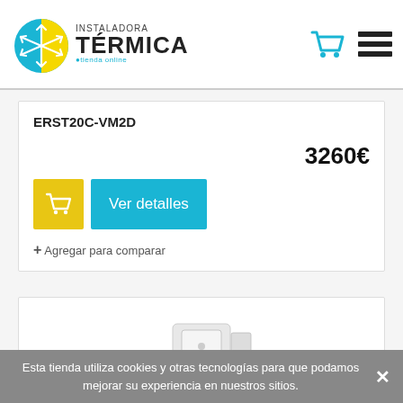[Figure (logo): Instaladora Termica logo with snowflake and sun icon]
[Figure (other): Shopping cart icon (cyan) and hamburger menu icon in header]
ERST20C-VM2D
3260€
[Figure (other): Yellow cart button and cyan 'Ver detalles' button]
+ Agregar para comparar
[Figure (photo): Product image partially visible at bottom of page]
Esta tienda utiliza cookies y otras tecnologías para que podamos mejorar su experiencia en nuestros sitios.